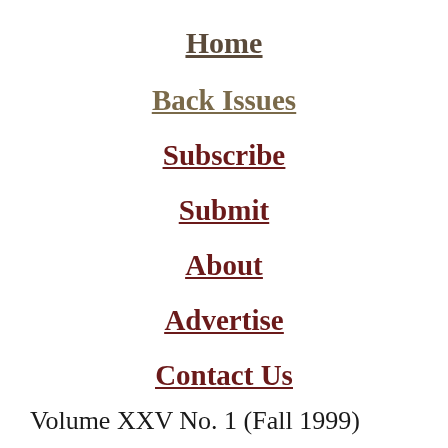Home
Back Issues
Subscribe
Submit
About
Advertise
Contact Us
Volume XXV No. 1 (Fall 1999)